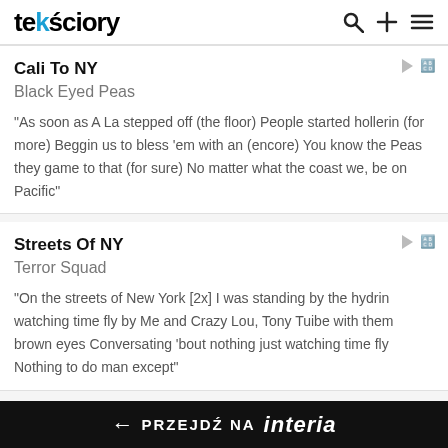tekściory
Cali To NY
Black Eyed Peas
"As soon as A La stepped off (the floor) People started hollerin (for more) Beggin us to bless 'em with an (encore) You know the Peas they game to that (for sure) No matter what the coast we, be on Pacific"
Streets Of NY
Terror Squad
"On the streets of New York [2x] I was standing by the hydrin watching time fly by Me and Crazy Lou, Tony Tuibe with them brown eyes Conversating 'bout nothing just watching time fly Nothing to do man except"
← PRZEJDŹ NA interia